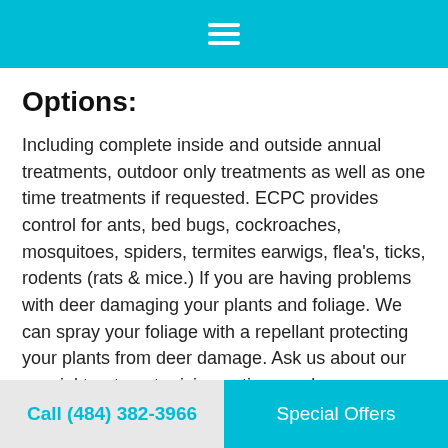[Figure (other): Cyan/turquoise top navigation bar with white hamburger menu icon (three horizontal lines)]
Options:
Including complete inside and outside annual treatments, outdoor only treatments as well as one time treatments if requested. ECPC provides control for ants, bed bugs, cockroaches, mosquitoes, spiders, termites earwigs, flea's, ticks, rodents (rats & mice.) If you are having problems with deer damaging your plants and foliage. We can spray your foliage with a repellant protecting your plants from deer damage. Ask us about our special treatment pricing options and money saving
Call (484) 382-3966    Special Offers